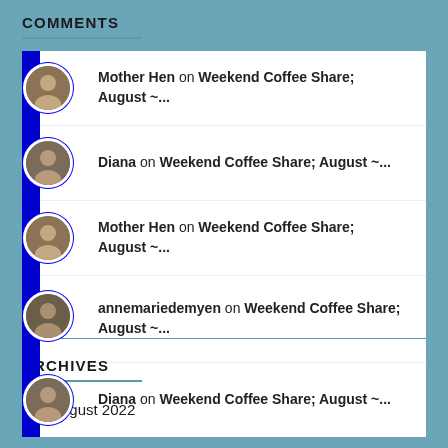COMMENTS
Mother Hen on Weekend Coffee Share; August ~...
Diana on Weekend Coffee Share; August ~...
Mother Hen on Weekend Coffee Share; August ~...
annemariedemyen on Weekend Coffee Share; August ~...
Diana on Weekend Coffee Share; August ~...
ARCHIVES
August 2022